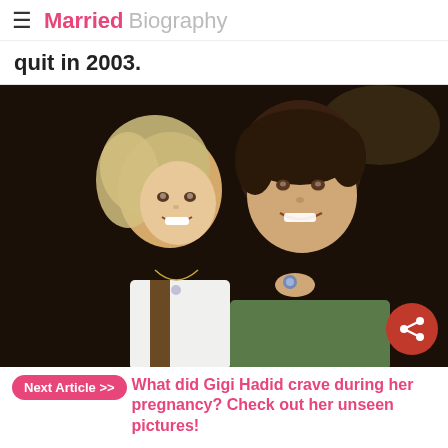Married Biography
quit in 2003.
[Figure (photo): A couple posing together — a blonde woman and a dark-haired man smiling, with the woman's hand visible showing a ring. Dark background.]
Next Article >> What did Gigi Hadid crave during her pregnancy? Check out her unseen pictures!